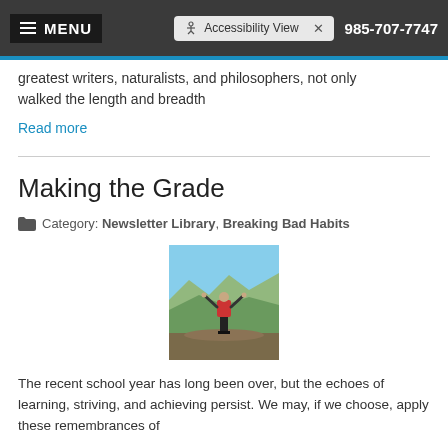MENU | Accessibility View | 985-707-7747
greatest writers, naturalists, and philosophers, not only walked the length and breadth
Read more
Making the Grade
Category: Newsletter Library, Breaking Bad Habits
[Figure (photo): Person with backpack and arms raised standing on a mountain peak with blue sky and mountain range in background]
The recent school year has long been over, but the echoes of learning, striving, and achieving persist. We may, if we choose, apply these remembrances of